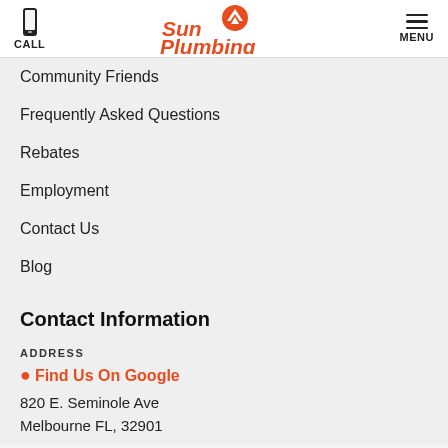CALL | Sun Plumbing | MENU
Community Friends
Frequently Asked Questions
Rebates
Employment
Contact Us
Blog
Contact Information
ADDRESS
Find Us On Google
820 E. Seminole Ave
Melbourne FL, 32901